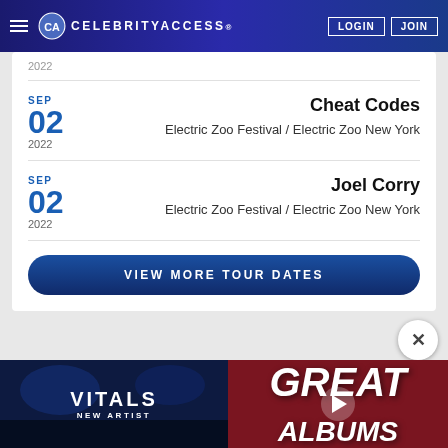CELEBRITYACCESS. LOGIN JOIN
2022
SEP
02
2022
Cheat Codes
Electric Zoo Festival / Electric Zoo New York
SEP
02
2022
Joel Corry
Electric Zoo Festival / Electric Zoo New York
VIEW MORE TOUR DATES
[Figure (screenshot): VITALS NEW ARTIST section with crowd background]
[Figure (screenshot): GREAT ALBUMS promotional overlay with play button]